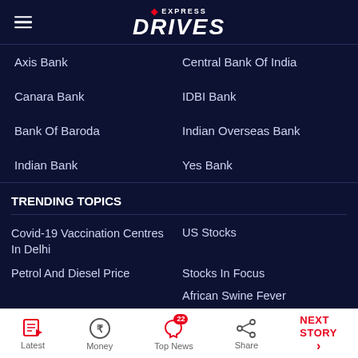EXPRESS DRIVES
Axis Bank
Central Bank Of India
Canara Bank
IDBI Bank
Bank Of Baroda
Indian Overseas Bank
Indian Bank
Yes Bank
TRENDING TOPICS
Covid-19 Vaccination Centres In Delhi
US Stocks
Petrol And Diesel Price
Stocks In Focus
African Swine Fever
Latest  Money  Top News 22  Share  NEXT STORY